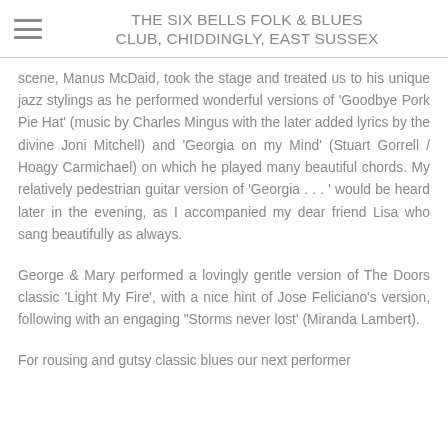THE SIX BELLS FOLK & BLUES CLUB, CHIDDINGLY, EAST SUSSEX
scene, Manus McDaid, took the stage and treated us to his unique jazz stylings as he performed wonderful versions of 'Goodbye Pork Pie Hat' (music by Charles Mingus with the later added lyrics by the divine Joni Mitchell) and 'Georgia on my Mind' (Stuart Gorrell / Hoagy Carmichael) on which he played many beautiful chords. My relatively pedestrian guitar version of 'Georgia . . . ' would be heard later in the evening, as I accompanied my dear friend Lisa who sang beautifully as always.
George & Mary performed a lovingly gentle version of The Doors classic 'Light My Fire', with a nice hint of Jose Feliciano's version, following with an engaging "Storms never lost' (Miranda Lambert).
For rousing and gutsy classic blues our next performer